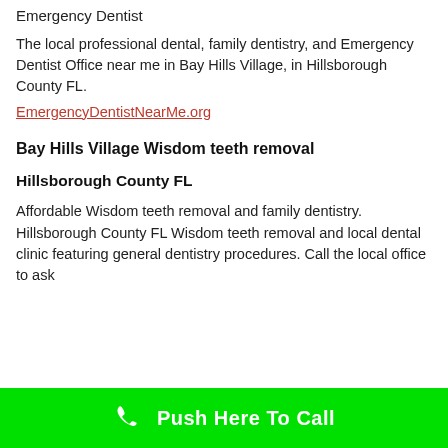Emergency Dentist
The local professional dental, family dentistry, and Emergency Dentist Office near me in Bay Hills Village, in Hillsborough County FL.
EmergencyDentistNearMe.org
Bay Hills Village Wisdom teeth removal
Hillsborough County FL
Affordable Wisdom teeth removal and family dentistry.  Hillsborough County FL Wisdom teeth removal and local dental clinic featuring general dentistry procedures. Call the local office to ask
Push Here To Call